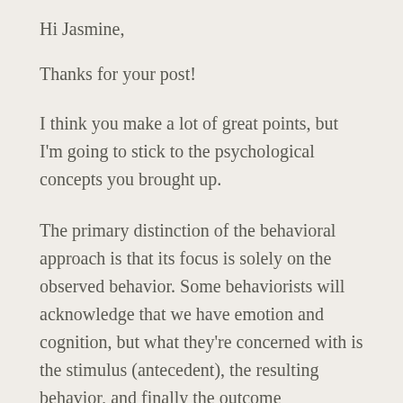Hi Jasmine,
Thanks for your post!
I think you make a lot of great points, but I'm going to stick to the psychological concepts you brought up.
The primary distinction of the behavioral approach is that its focus is solely on the observed behavior. Some behaviorists will acknowledge that we have emotion and cognition, but what they're concerned with is the stimulus (antecedent), the resulting behavior, and finally the outcome (consequence) that determines learning. Considering this in the education context: the student is presented with